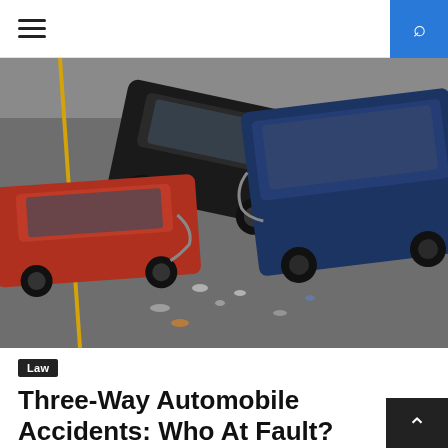Navigation header with hamburger menu and search button
[Figure (photo): Aerial view of a three-car automobile accident on a wet road. A black SUV, a red sedan, and a blue truck/SUV are involved in a collision with visible damage and debris scattered on the road surface.]
Law
Three-Way Automobile Accidents: Who At Fault?